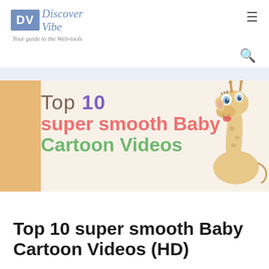Discover Vibe — Your guide to the Web-tools
[Figure (illustration): Banner image showing a cartoon giraffe with colorful text: 'Top 10 super smooth Baby Cartoon Videos' on a cream/orange background]
Top 10 super smooth Baby Cartoon Videos (HD)